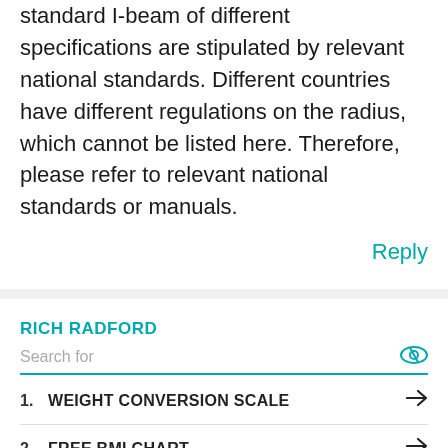standard I-beam of different specifications are stipulated by relevant national standards. Different countries have different regulations on the radius, which cannot be listed here. Therefore, please refer to relevant national standards or manuals.
Reply
RICH RADFORD
Search for
1. WEIGHT CONVERSION SCALE
2. FREE BMI CHART